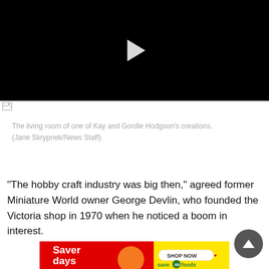[Figure (screenshot): Black video player with white play button triangle in center]
[Figure (photo): Broken image placeholder icon bar below video]
The living room of one of Kay and Gordie Hodgson's creations. (Jane Skrypnek/News Staff)
“The hobby craft industry was big then,” agreed former Miniature World owner George Devlin, who founded the Victoria shop in 1970 when he noticed a boom in interest.
[Figure (illustration): Saver Days - Save On Foods advertisement banner. Red section with 'Saver days' text and orange circle graphic, white section with 'SHOP NOW' arrow button, yellow section with 'save on foods' logo.]